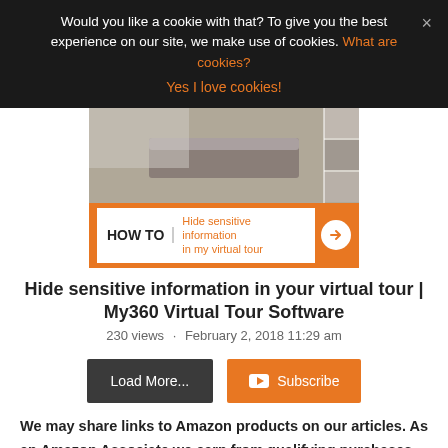Would you like a cookie with that? To give you the best experience on our site, we make use of cookies. What are cookies?
Yes I love cookies!
[Figure (screenshot): Thumbnail image showing a bedroom scene with a HOW TO banner overlay reading 'Hide sensitive information in my virtual tour' with an orange arrow button]
Hide sensitive information in your virtual tour | My360 Virtual Tour Software
230 views · February 2, 2018 11:29 am
Load More...
Subscribe
We may share links to Amazon products on our articles. As an Amazon Associate we earn from qualifying purchases, this allows us to continue to give you free information. It